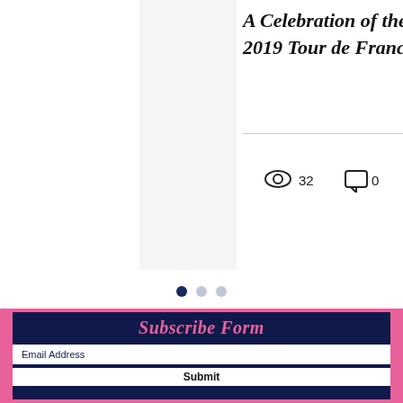[Figure (screenshot): Blog post card showing italic title 'A Celebration of the 2019 Tour de Franc...' with view count 32 and comment count 0 and a red/pink heart icon]
[Figure (other): Carousel navigation dots: one filled dark blue, two light grey]
[Figure (screenshot): Subscribe Form section with dark navy background, pink border, pink italic 'Subscribe Form' heading, white email address input field, white Submit button, dark navy social icons area with two white Twitter bird icons and a white chat bubble icon in bottom right]